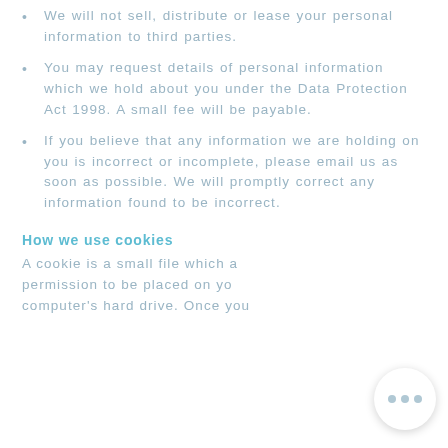We will not sell, distribute or lease your personal information to third parties.
You may request details of personal information which we hold about you under the Data Protection Act 1998. A small fee will be payable.
If you believe that any information we are holding on you is incorrect or incomplete, please email us as soon as possible. We will promptly correct any information found to be incorrect.
How we use cookies
A cookie is a small file which a permission to be placed on your computer's hard drive. Once you